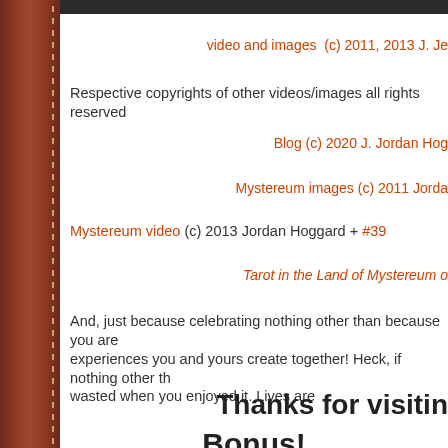video and images  (c) 2011, 2013 J. Je
Respective copyrights of other videos/images all rights reserved
Blog (c) 2020 J. Jordan Hog
Mystereum images (c) 2011 Jorda
Mystereum video (c) 2013 Jordan Hoggard + #39
Tarot in the Land of Mystereum o
And, just because celebrating nothing other than because you are experiences you and yours create together! Heck, if nothing other th wasted when you enjoyed it. Lives are
Thanks for visitin
Bonus!
Photo Selectio